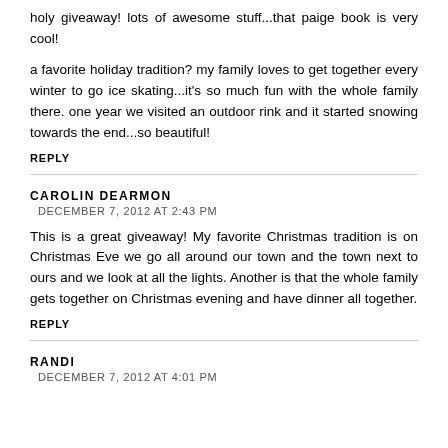holy giveaway! lots of awesome stuff...that paige book is very cool!
a favorite holiday tradition? my family loves to get together every winter to go ice skating...it's so much fun with the whole family there. one year we visited an outdoor rink and it started snowing towards the end...so beautiful!
REPLY
CAROLIN DEARMON
DECEMBER 7, 2012 AT 2:43 PM
This is a great giveaway! My favorite Christmas tradition is on Christmas Eve we go all around our town and the town next to ours and we look at all the lights. Another is that the whole family gets together on Christmas evening and have dinner all together.
REPLY
RANDI
DECEMBER 7, 2012 AT 4:01 PM